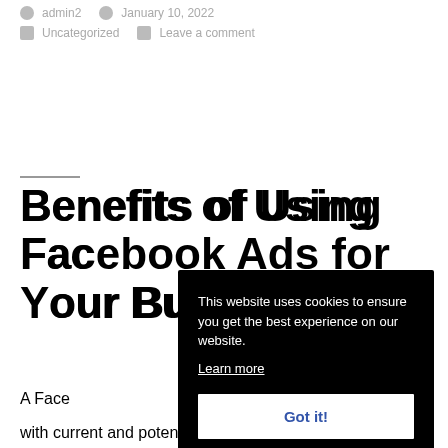admin2   January 10, 2022
Uncategorized   Leave a comment
Benefits of Using Facebook Ads for Your Business
A Face
with current and potential customers. It
[Figure (screenshot): Cookie consent banner overlay with black background. Text reads: 'This website uses cookies to ensure you get the best experience on our website. Learn more' with a 'Got it!' button.]